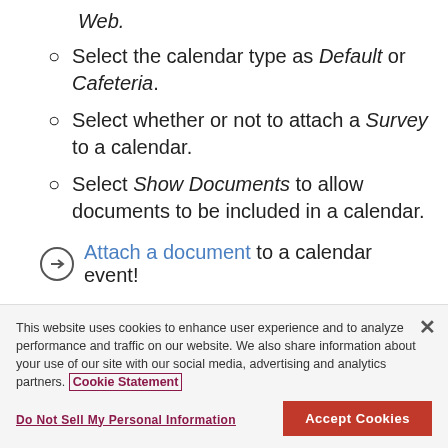Web.
Select the calendar type as Default or Cafeteria.
Select whether or not to attach a Survey to a calendar.
Select Show Documents to allow documents to be included in a calendar.
→ Attach a document to a calendar event!
8. Select Save when finished.
This website uses cookies to enhance user experience and to analyze performance and traffic on our website. We also share information about your use of our site with our social media, advertising and analytics partners. Cookie Statement
Do Not Sell My Personal Information | Accept Cookies